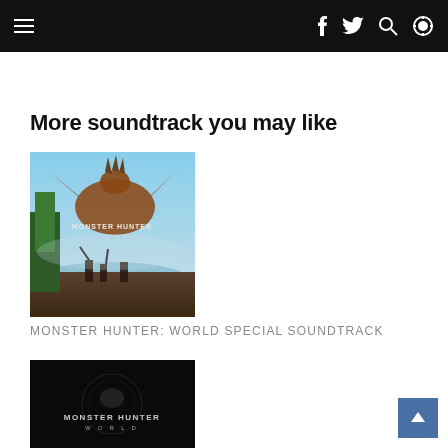Navigation bar with hamburger menu, Facebook, Twitter, search, and settings icons
More soundtrack you may like
[Figure (photo): Monster Hunter: World game artwork showing a large dragon-like monster and hunters with weapons in a scenic outdoor environment with the text MONSTER HUNTER WORLD on the image]
MONSTER HUNTER: WORLD SPECIAL SOUNDTRACK
[Figure (photo): Monster Hunter: World album cover with black background and the text MONSTER HUNTER WORLD]